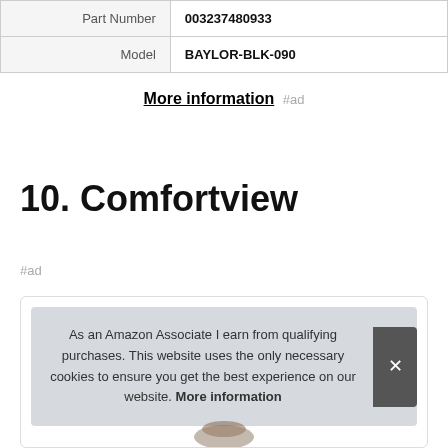| Part Number | 003237480933 |
| Model | BAYLOR-BLK-090 |
More information #ad
10. Comfortview
#ad
As an Amazon Associate I earn from qualifying purchases. This website uses the only necessary cookies to ensure you get the best experience on our website. More information